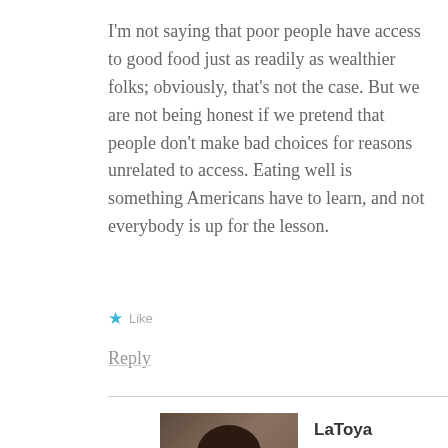I'm not saying that poor people have access to good food just as readily as wealthier folks; obviously, that's not the case. But we are not being honest if we pretend that people don't make bad choices for reasons unrelated to access. Eating well is something Americans have to learn, and not everybody is up for the lesson.
★ Like
Reply
LaToya
JANUARY 21, 2010 AT 5:29 AM
[Figure (photo): Profile photo of commenter LaToya — a woman's face, dark hair, blue eye shadow]
I still believe this argument gives more weight